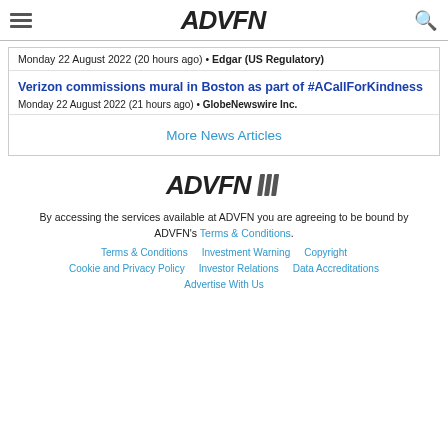ADVFN
Monday 22 August 2022 (20 hours ago) • Edgar (US Regulatory)
Verizon commissions mural in Boston as part of #ACallForKindness
Monday 22 August 2022 (21 hours ago) • GlobeNewswire Inc.
More News Articles
[Figure (logo): ADVFN logo in italic bold black font with diagonal stripe marks]
By accessing the services available at ADVFN you are agreeing to be bound by ADVFN's Terms & Conditions.
Terms & Conditions   Investment Warning   Copyright   Cookie and Privacy Policy   Investor Relations   Data Accreditations   Advertise With Us